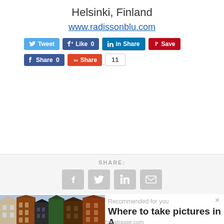Helsinki, Finland
www.radissonblu.com
[Figure (screenshot): Social sharing buttons row 1: Tweet (Twitter), Like 0 (Facebook), Share (LinkedIn), Save (Pinterest)]
[Figure (screenshot): Social sharing buttons row 2: Share 0 (Facebook), Share (StumbleUpon/red), count bubble showing 11]
SHARE:
[Figure (screenshot): Share icon buttons: Facebook, Twitter, LinkedIn, Email (all gray square buttons)]
[Figure (photo): Photo of Amsterdam canal houses - tall narrow Dutch-style brick buildings with stepped gable roofs]
Recommended for you
Where to take pictures in A...
fotostrasse.com
AddThis